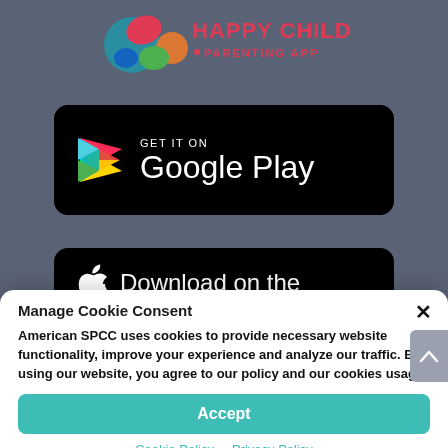[Figure (logo): Happy Child Parenting App logo with colorful splashes and text at top]
[Figure (screenshot): GET IT ON Google Play black button with Google Play triangle logo]
[Figure (screenshot): Download on the App Store black button with Apple logo, partially visible]
Manage Cookie Consent
American SPCC uses cookies to provide necessary website functionality, improve your experience and analyze our traffic. By using our website, you agree to our policy and our cookies usage.
Accept
Cookie Policy   Privacy Policy